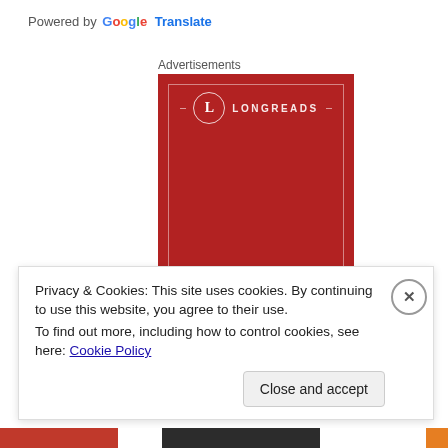Powered by Google Translate
Advertisements
[Figure (logo): Longreads advertisement banner — red background with LONGREADS logo (circle with L, decorative lines) and italic text 'The best' at the bottom]
Privacy & Cookies: This site uses cookies. By continuing to use this website, you agree to their use.
To find out more, including how to control cookies, see here: Cookie Policy
Close and accept